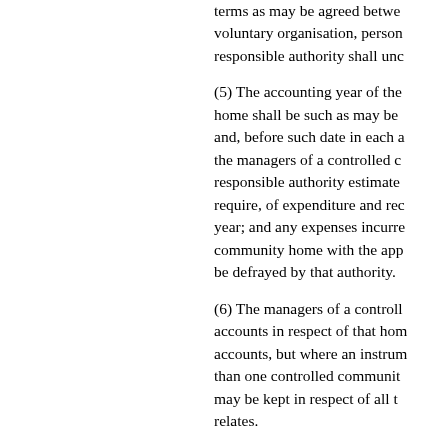terms as may be agreed betwe voluntary organisation, person responsible authority shall unc
(5) The accounting year of the home shall be such as may be and, before such date in each a the managers of a controlled c responsible authority estimate require, of expenditure and rec year; and any expenses incurre community home with the app be defrayed by that authority.
(6) The managers of a controll accounts in respect of that hom accounts, but where an instrum than one controlled communit may be kept in respect of all t relates.
42 Management of assisted c
(1) The management, equipme community home shall be the organisation by which the hon